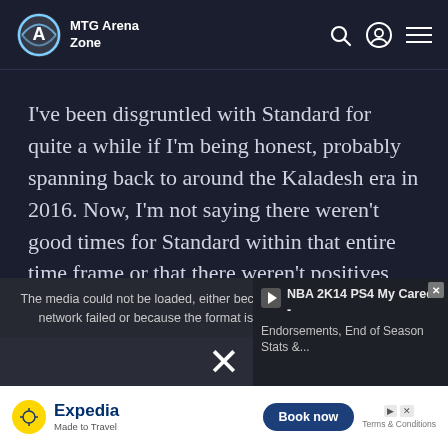MTG Arena Zone
I've been disgruntled with Standard for quite a while if I'm being honest, probably spanning back to around the Kaladesh era in 2016. Now, I'm not saying there weren't good times for Standard within that entire time frame or that there weren't positives when Standard as a whole wasn't at its best, because there
[Figure (screenshot): Media error overlay saying 'The media could not be loaded, either because the server or network failed or because the format is not supported.' with an NBA 2K14 PS4 My Career video thumbnail panel on the right showing endorsements and end of season stats, and a large X close button at bottom center]
deci... the life... and of near... ...rtant
[Figure (screenshot): Expedia advertisement banner at bottom: yellow compass icon, 'Expedia Made to Travel' branding, 'Book now' button, Terms & Conditions link]